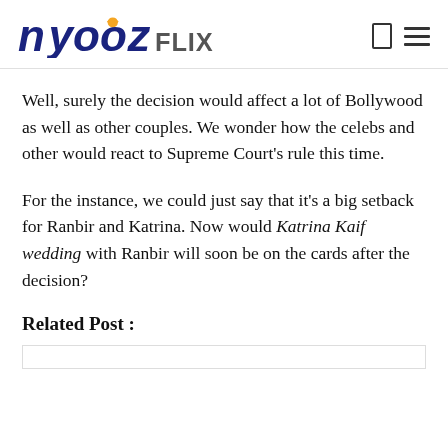nyooz FLIX
Well, surely the decision would affect a lot of Bollywood as well as other couples. We wonder how the celebs and other would react to Supreme Court's rule this time.
For the instance, we could just say that it's a big setback for Ranbir and Katrina. Now would Katrina Kaif wedding with Ranbir will soon be on the cards after the decision?
Related Post :